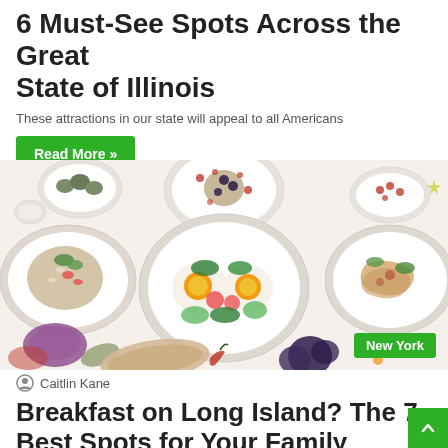6 Must-See Spots Across the Great State of Illinois
These attractions in our state will appeal to all Americans
Read More »
[Figure (photo): Overhead view of multiple white plates with various food dishes including eggs, salads, and other meals on a white surface, with a 'New York' green label badge in the bottom right corner]
Caitlin Kane
Breakfast on Long Island? The 7 Best Spots for Your Family